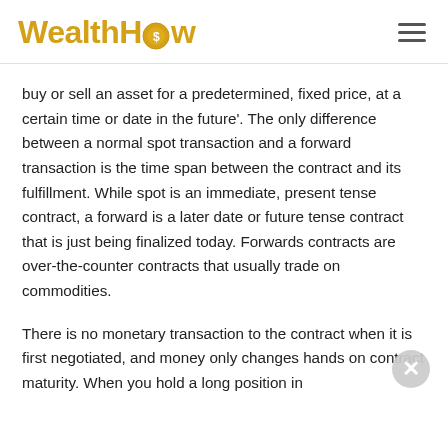WealthHow
buy or sell an asset for a predetermined, fixed price, at a certain time or date in the future'. The only difference between a normal spot transaction and a forward transaction is the time span between the contract and its fulfillment. While spot is an immediate, present tense contract, a forward is a later date or future tense contract that is just being finalized today. Forwards contracts are over-the-counter contracts that usually trade on commodities.
There is no monetary transaction to the contract when it is first negotiated, and money only changes hands on contract maturity. When you hold a long position in